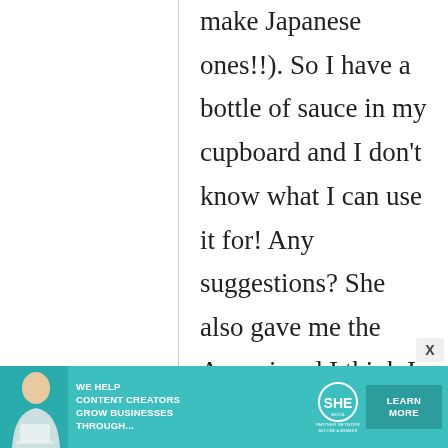make Japanese ones!!). So I have a bottle of sauce in my cupboard and I don't know what I can use it for! Any suggestions? She also gave me the Aonori and I think I can find uses for that but this sauce? What to do with this sauce?
[Figure (infographic): Advertisement banner: teal/green background with woman photo on left, text 'WE HELP CONTENT CREATORS GROW BUSINESSES THROUGH...', SHE Partner Network logo, and 'LEARN MORE' button]